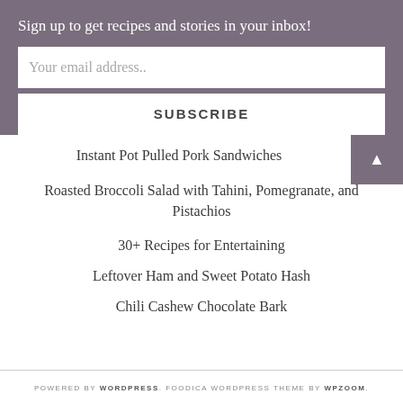Sign up to get recipes and stories in your inbox!
Your email address..
SUBSCRIBE
Instant Pot Pulled Pork Sandwiches
Roasted Broccoli Salad with Tahini, Pomegranate, and Pistachios
30+ Recipes for Entertaining
Leftover Ham and Sweet Potato Hash
Chili Cashew Chocolate Bark
POWERED BY WORDPRESS. FOODICA WORDPRESS THEME BY WPZOOM.